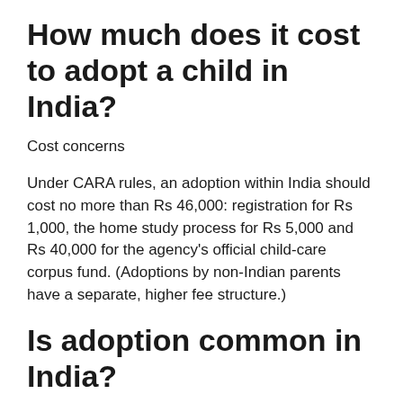How much does it cost to adopt a child in India?
Cost concerns
Under CARA rules, an adoption within India should cost no more than Rs 46,000: registration for Rs 1,000, the home study process for Rs 5,000 and Rs 40,000 for the agency's official child-care corpus fund. (Adoptions by non-Indian parents have a separate, higher fee structure.)
Is adoption common in India?
Adoption rates in India have always been low, but they have been dropping in the past